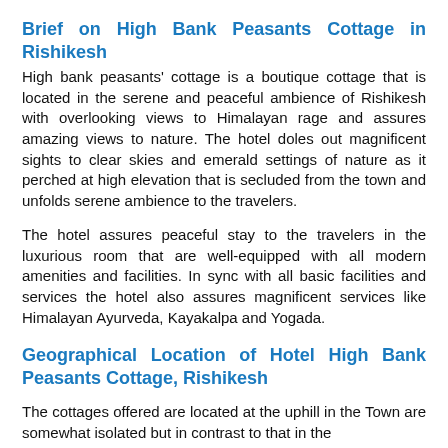Brief on High Bank Peasants Cottage in Rishikesh
High bank peasants' cottage is a boutique cottage that is located in the serene and peaceful ambience of Rishikesh with overlooking views to Himalayan rage and assures amazing views to nature. The hotel doles out magnificent sights to clear skies and emerald settings of nature as it perched at high elevation that is secluded from the town and unfolds serene ambience to the travelers.
The hotel assures peaceful stay to the travelers in the luxurious room that are well-equipped with all modern amenities and facilities. In sync with all basic facilities and services the hotel also assures magnificent services like Himalayan Ayurveda, Kayakalpa and Yogada.
Geographical Location of Hotel High Bank Peasants Cottage, Rishikesh
The cottages offered are located at the uphill in the Town are somewhat isolated but in contrast to that in the